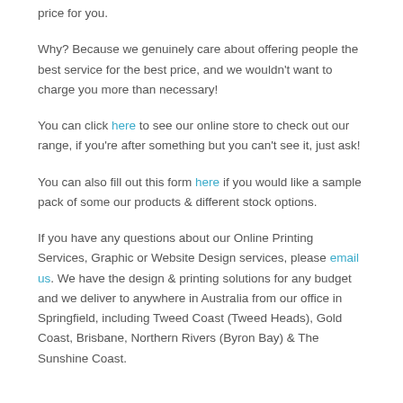price for you.
Why? Because we genuinely care about offering people the best service for the best price, and we wouldn't want to charge you more than necessary!
You can click here to see our online store to check out our range, if you're after something but you can't see it, just ask!
You can also fill out this form here if you would like a sample pack of some our products & different stock options.
If you have any questions about our Online Printing Services, Graphic or Website Design services, please email us. We have the design & printing solutions for any budget and we deliver to anywhere in Australia from our office in Springfield, including Tweed Coast (Tweed Heads), Gold Coast, Brisbane, Northern Rivers (Byron Bay) & The Sunshine Coast.